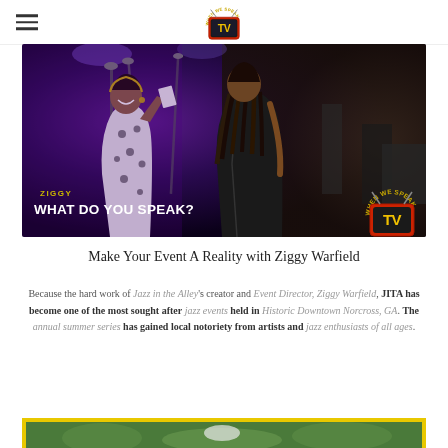When We Speak TV logo with hamburger menu
[Figure (photo): Concert/event photo showing a woman in a white patterned dress at a microphone on stage, with another person with dreadlocks in a dark jacket to the right. Purple stage lighting. Overlay text reads 'ZIGGY' and 'WHAT DO YOU SPEAK?' with When We Speak TV logo in lower right.]
Make Your Event A Reality with Ziggy Warfield
Because the hard work of Jazz in the Alley's creator and Event Director, Ziggy Warfield, JITA has become one of the most sought after jazz events held in Historic Downtown Norcross, GA. The annual summer series has gained local notoriety from artists and jazz enthusiasts of all ages.
[Figure (photo): Partial bottom image with yellow border showing an outdoor scene with green foliage and a person with a white cap.]